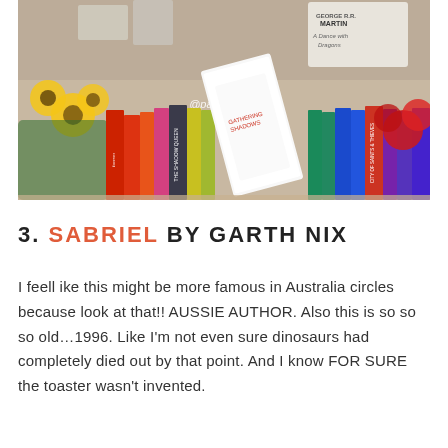[Figure (photo): A colorful photo of a rainbow bookshelf with many books arranged by color, flowers (sunflowers and red flowers) on the sides, and a prominent book leaning against the shelf in the center. A watermark reads @paperfury. Books visible include A Dance with Dragons by George R.R. Martin and others.]
3. SABRIEL BY GARTH NIX
I feell ike this might be more famous in Australia circles because look at that!! AUSSIE AUTHOR. Also this is so so so old…1996. Like I'm not even sure dinosaurs had completely died out by that point. And I know FOR SURE the toaster wasn't invented.